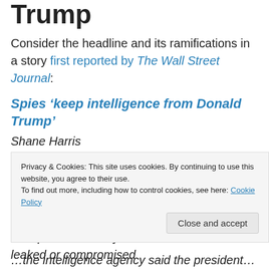Trump
Consider the headline and its ramifications in a story first reported by The Wall Street Journal:
Spies ‘keep intelligence from Donald Trump’
Shane Harris
The Wall Street Journal
1:06PM February 16, 2017
US intelligence officials have withheld sensitive intelligence from President Donald Trump because they are concerned it could be leaked or compromised
Privacy & Cookies: This site uses cookies. By continuing to use this website, you agree to their use.
To find out more, including how to control cookies, see here: Cookie Policy
...the intelligence agency said the president...